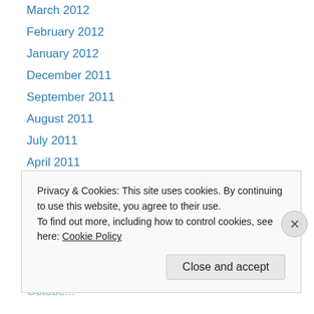March 2012
February 2012
January 2012
December 2011
September 2011
August 2011
July 2011
April 2011
March 2011
February 2011
January 2011
December 2010
November 2010
Privacy & Cookies: This site uses cookies. By continuing to use this website, you agree to their use. To find out more, including how to control cookies, see here: Cookie Policy
Close and accept